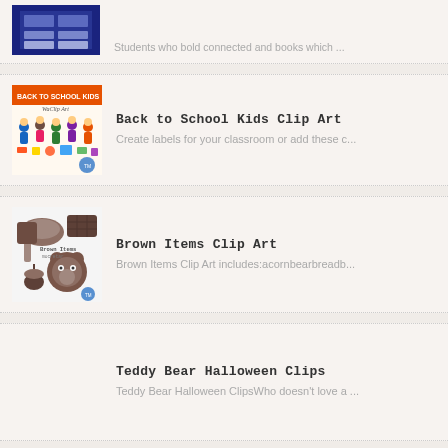[Figure (illustration): Partial view of a classroom-themed clip art thumbnail, cut off at top]
Students who bold connected and books which ...
[Figure (illustration): Back to School Kids Clip Art thumbnail showing colorful cartoon children with school supplies]
Back to School Kids Clip Art
Create labels for your classroom or add these c...
[Figure (illustration): Brown Items Clip Art thumbnail showing brown food items: bread, acorn, bear, chocolate]
Brown Items Clip Art
Brown Items Clip Art includes:acornbearbreadb...
Teddy Bear Halloween Clips
Teddy Bear Halloween ClipsWho doesn't love a ...